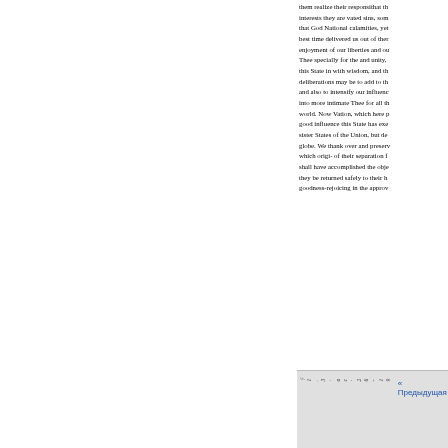them realize their responsithat th interests they are vated sins, som that God National calamities, yet best time delivered us out of ther enjoyment of our liberties and ou Thee specially for the and unity, this State in with wisdom, and th deliberations may be to add to th and also to intensify our influenc into more intimate Thee for all th world. Now Vation, which here p good influence this State has exe sister States of the Union, but de globe. We thank over and preserv which origi- of their separation f shall have accomplished the obje they be returned safely to their h goodness-rejoicing in the approv
« Предыдущая